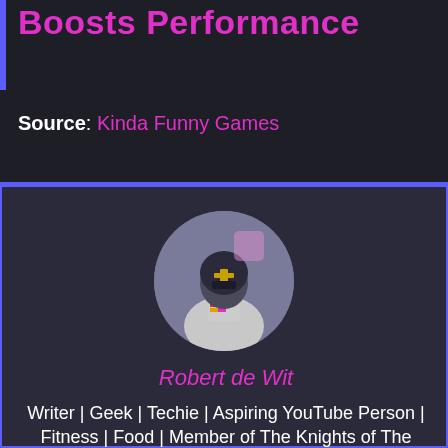Boosts Performance
Source: Kinda Funny Games
[Figure (photo): Circular avatar photo of a person wearing a knight helmet and a GENCON hoodie, standing in what appears to be a store.]
Robert de Wit
Writer | Geek | Techie | Aspiring YouTube Person | Fitness | Food | Member of The Knights of The Oxford Comma